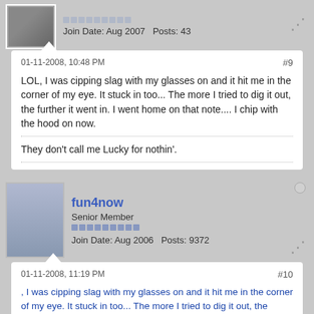Join Date: Aug 2007   Posts: 43
01-11-2008, 10:48 PM
#9
LOL, I was cipping slag with my glasses on and it hit me in the corner of my eye. It stuck in too... The more I tried to dig it out, the further it went in. I went home on that note.... I chip with the hood on now.
They don't call me Lucky for nothin'.
fun4now
Senior Member
Join Date: Aug 2006   Posts: 9372
01-11-2008, 11:19 PM
#10
, I was cipping slag with my glasses on and it hit me in the corner of my eye. It stuck in too... The more I tried to dig it out, the further it went in. I went home on that note.... I chip with the hood on now.
perhaps ya need to rethink your site name. 😮...........🤔......... .maybe not come to think of it how's the eye now ??